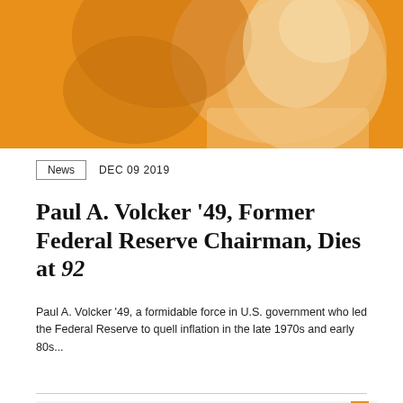[Figure (photo): Close-up photo of a person in an orange/amber-toned background, showing part of a face and shoulder]
News   DEC 09 2019
Paul A. Volcker '49, Former Federal Reserve Chairman, Dies at 92
Paul A. Volcker '49, a formidable force in U.S. government who led the Federal Reserve to quell inflation in the late 1970s and early 80s...
[Figure (photo): WWS branded image with large bold text 'WWS PLACES' on white and orange background]